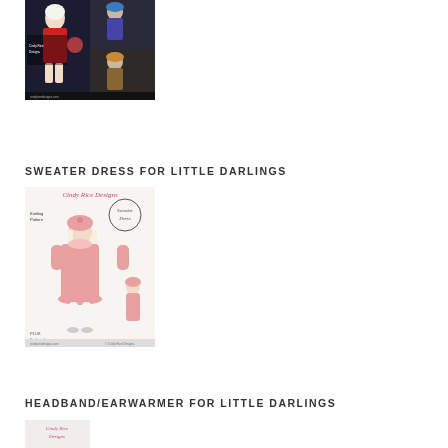[Figure (photo): Collage of doll photos with knitting patterns, showing a doll in a red dress and various hat accessories against a dark background]
SWEATER DRESS FOR LITTLE DARLINGS
[Figure (photo): Cindy Rice Designs knitting pattern booklet cover showing a doll in a pink sweater dress and beret, labeled 'Sweater Dress', with smaller doll image on right side]
HEADBAND/EARWARMER FOR LITTLE DARLINGS
[Figure (photo): Partial view of another knitting pattern booklet at bottom of page]